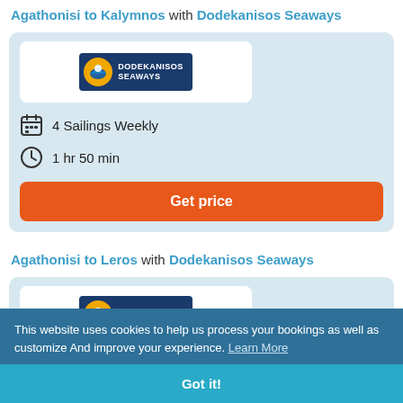Agathonisi to Kalymnos with Dodekanisos Seaways
[Figure (logo): Dodekanisos Seaways company logo — dark blue background with yellow circle icon and white text]
4 Sailings Weekly
1 hr 50 min
Get price
Agathonisi to Leros with Dodekanisos Seaways
[Figure (logo): Dodekanisos Seaways company logo — partial view]
This website uses cookies to help us process your bookings as well as customize And improve your experience. Learn More
Got it!